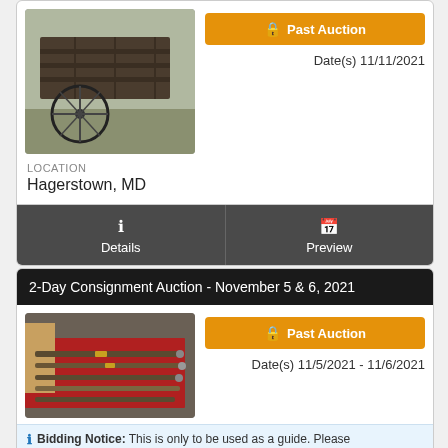[Figure (photo): Wooden wagon/cart with large spoked wheel, outdoors on grass]
Past Auction
Date(s) 11/11/2021
LOCATION
Hagerstown, MD
Details
Preview
2-Day Consignment Auction - November 5 & 6, 2021
[Figure (photo): Several rifles/guns laid out on red fabric on a table]
Past Auction
Date(s) 11/5/2021 - 11/6/2021
Bidding Notice: This is only to be used as a guide. Please